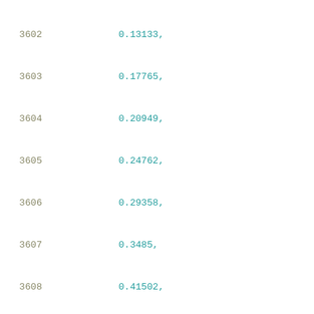Code listing lines 3602-3623 showing numerical array data
3602    0.13133,
3603    0.17765,
3604    0.20949,
3605    0.24762,
3606    0.29358,
3607    0.3485,
3608    0.41502,
3609    0.49417,
3610    0.58965,
3611    0.70403,
3612    0.84153,
3613    1.00696,
3614    1.20383,
3615    1.44476,
3616    1.72741,
3617    2.0676,
3618    2.4793
3619    ],
3620    [
3621        0.02691,
3622        0.11113,
3623        0.12923,